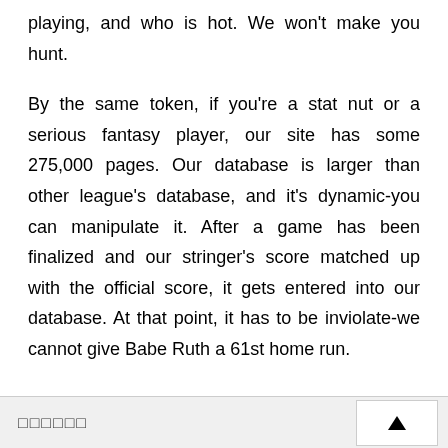playing, and who is hot. We won't make you hunt.
By the same token, if you're a stat nut or a serious fantasy player, our site has some 275,000 pages. Our database is larger than other league's database, and it's dynamic-you can manipulate it. After a game has been finalized and our stringer's score matched up with the official score, it gets entered into our database. At that point, it has to be inviolate-we cannot give Babe Ruth a 61st home run.
▲